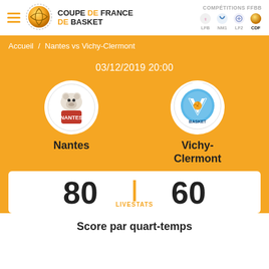[Figure (logo): Coupe de France de Basket logo with basketball graphic and text]
COMPÉTITIONS FFBB
LFB  NM1  LF2  CDF
Accueil / Nantes vs Vichy-Clermont
03/12/2019 20:00
[Figure (logo): Nantes basketball team logo - white bear on dark circular badge]
[Figure (logo): Vichy-Clermont basketball team logo - blue circular badge with VAB Basket text]
Nantes
Vichy-Clermont
80  |  LIVESTATS  60
Score par quart-temps